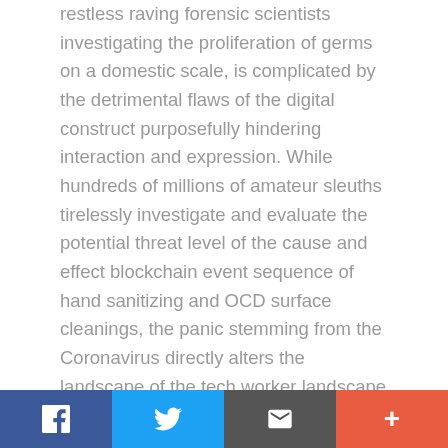restless raving forensic scientists investigating the proliferation of germs on a domestic scale, is complicated by the detrimental flaws of the digital construct purposefully hindering interaction and expression. While hundreds of millions of amateur sleuths tirelessly investigate and evaluate the potential threat level of the cause and effect blockchain event sequence of hand sanitizing and OCD surface cleanings, the panic stemming from the Coronavirus directly alters the landscape of the tech worker landscape from the standpoint of logistics. As the federal government has invoked social distancing standards, the leaders of the tech world have opted to send their legions of human thought police home and not allowing any platform regulatory attempts from remote locations.